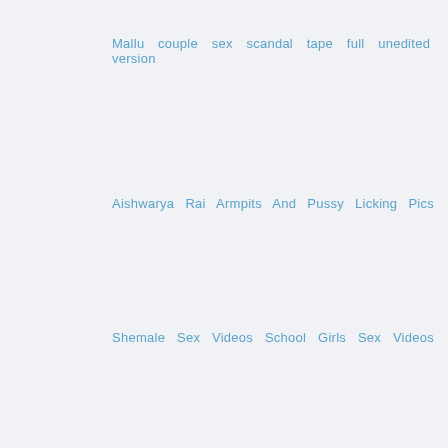Mallu couple sex scandal tape full unedited version
Aishwarya Rai Armpits And Pussy Licking Pics
Shemale Sex Videos School Girls Sex Videos